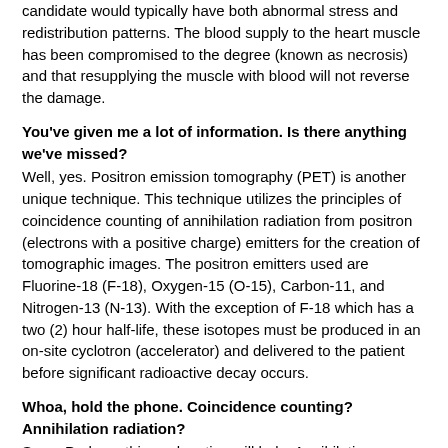candidate would typically have both abnormal stress and redistribution patterns. The blood supply to the heart muscle has been compromised to the degree (known as necrosis) and that resupplying the muscle with blood will not reverse the damage.
You've given me a lot of information. Is there anything we've missed?
Well, yes. Positron emission tomography (PET) is another unique technique. This technique utilizes the principles of coincidence counting of annihilation radiation from positron (electrons with a positive charge) emitters for the creation of tomographic images. The positron emitters used are Fluorine-18 (F-18), Oxygen-15 (O-15), Carbon-11, and Nitrogen-13 (N-13). With the exception of F-18 which has a two (2) hour half-life, these isotopes must be produced in an on-site cyclotron (accelerator) and delivered to the patient before significant radioactive decay occurs.
Whoa, hold the phone. Coincidence counting? Annihilation radiation?
Sorry. Perhaps this explanation will help. Annihilation radiation results when positrons (opposite charges) collide and subsequently are converted into two gamma rays. These gamma rays travel in completely opposite directions. As a result, a "coincidence" occurs when the radiations are detected simultaneously (in "coincidence") by detectors that are 180 degrees to each other . Radiation counts not observed in this manner are not counted.
Why aren't there PET machines everywhere?
Well, for one thing, the half-lives of the positron emitting isotopes are very short and